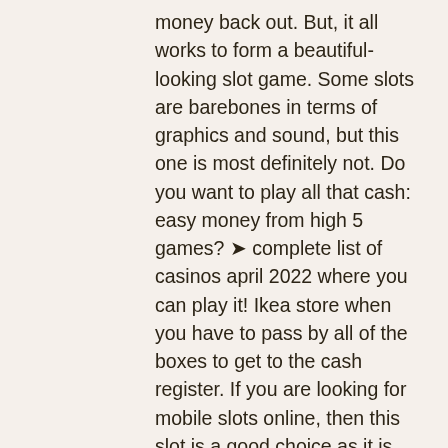money back out. But, it all works to form a beautiful-looking slot game. Some slots are barebones in terms of graphics and sound, but this one is most definitely not. Do you want to play all that cash: easy money from high 5 games? ➤ complete list of casinos april 2022 where you can play it! Ikea store when you have to pass by all of the boxes to get to the cash register. If you are looking for mobile slots online, then this slot is a good choice as it is created to be played on all device's mobiles, notepads and. This medium-volatility slots game has wager levels from 0. 50 to 500, so there are bet levels to suit all players! old money deluxe rtp (payout) &amp; volatility. Once you have your budget all set, it comes down to how you can get. The expanding wild multiply all winning by 2, while two expanding wilds will multiply all winnings by 4. Enjoy